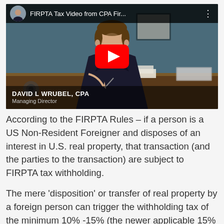[Figure (screenshot): YouTube video thumbnail showing David L Wrubel, CPA, Managing Director, seated at a desk. The video is titled 'FIRPTA Tax Video from CPA Fir...' with a YouTube play button overlay.]
According to the FIRPTA Rules – if a person is a US Non-Resident Foreigner and disposes of an interest in U.S. real property, that transaction (and the parties to the transaction) are subject to FIRPTA tax withholding.
The mere 'disposition' or transfer of real property by a foreign person can trigger the withholding tax of the minimum 10% -15% (the newer applicable 15%